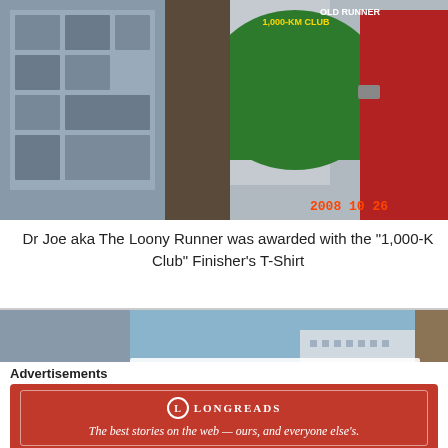[Figure (photo): Photo of Dr Joe aka The Loony Runner holding a green 1,000-KM Club t-shirt with another person in red shirt, dated 2008 10 26]
Dr Joe aka The Loony Runner was awarded with the "1,000-K Club" Finisher's T-Shirt
[Figure (photo): Photo at Bald Runner's Events showing two men posing in front of a Bald Runner's Events banner with Project Donate a Shoe text visible]
Advertisements
[Figure (other): Longreads advertisement: The best stories on the web — ours, and everyone else's.]